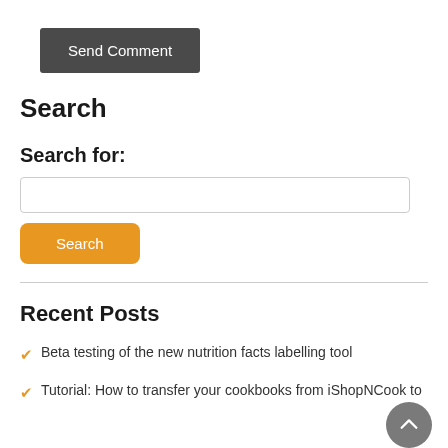Send Comment
Search
Search for:
[Figure (other): Search input text field (empty)]
Search
Recent Posts
Beta testing of the new nutrition facts labelling tool
Tutorial: How to transfer your cookbooks from iShopNCook to